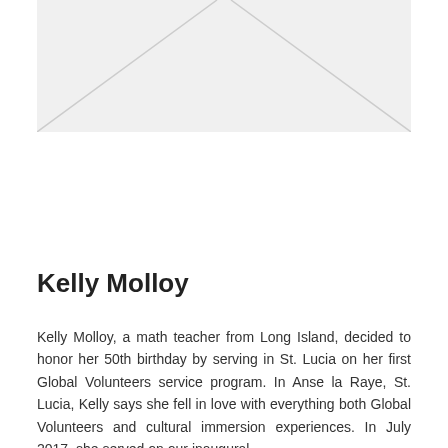[Figure (photo): A placeholder image area with two diagonal lines forming a grey box, indicating an image of Kelly Molloy]
Kelly Molloy
Kelly Molloy, a math teacher from Long Island, decided to honor her 50th birthday by serving in St. Lucia on her first Global Volunteers service program. In Anse la Raye, St. Lucia, Kelly says she fell in love with everything both Global Volunteers and cultural immersion experiences. In July 2017, she served on our inaugural